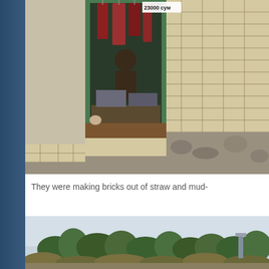[Figure (photo): A butcher shop stall with meat hanging from hooks, a weighing scale on the counter, brick walls with stone base. A sign reads '23000 сум'.]
They were making bricks out of straw and mud-
[Figure (photo): Outdoor landscape scene with trees, shrubs, a white wall or building in background, and a pale sky.]